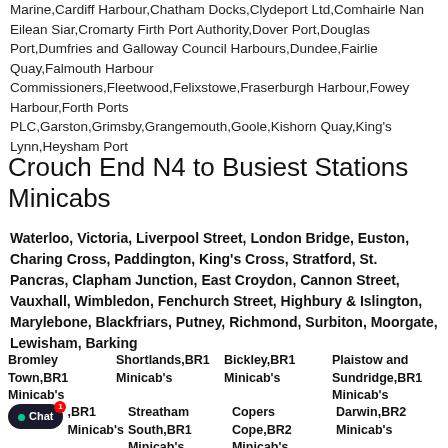Marine,Cardiff Harbour,Chatham Docks,Clydeport Ltd,Comhairle Nan Eilean Siar,Cromarty Firth Port Authority,Dover Port,Douglas Port,Dumfries and Galloway Council Harbours,Dundee,Fairlie Quay,Falmouth Harbour Commissioners,Fleetwood,Felixstowe,Fraserburgh Harbour,Fowey Harbour,Forth Ports PLC,Garston,Grimsby,Grangemouth,Goole,Kishorn Quay,King's Lynn,Heysham Port
Crouch End N4 to Busiest Stations Minicabs
Waterloo, Victoria, Liverpool Street, London Bridge, Euston, Charing Cross, Paddington, King's Cross, Stratford, St. Pancras, Clapham Junction, East Croydon, Cannon Street, Vauxhall, Wimbledon, Fenchurch Street, Highbury & Islington, Marylebone, Blackfriars, Putney, Richmond, Surbiton, Moorgate, Lewisham, Barking
Bromley Town,BR1 Minicab's
Shortlands,BR1 Minicab's
Bickley,BR1 Minicab's
Plaistow and Sundridge,BR1 Minicab's
W...,BR1 Minicab's
Streatham South,BR1 Minicab's
Copers Cope,BR2 Minicab's
Darwin,BR2 Minicab's